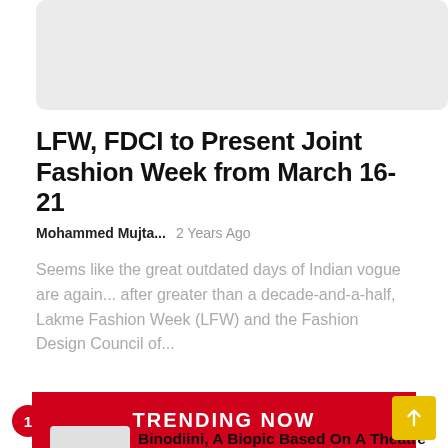[Figure (photo): Placeholder image for article]
LFW, FDCI to Present Joint Fashion Week from March 16-21
Mohammed Mujta...   2 Years Ago
Seems like the great outdated days of Indian vogue are again... after greater than a decade-and-a-half, Lakme Fashion Week (LFW) and the Fashion Design Council of...
TRENDING NOW
Binodiini, A Biopic Based On A Theatre Legend To Release...